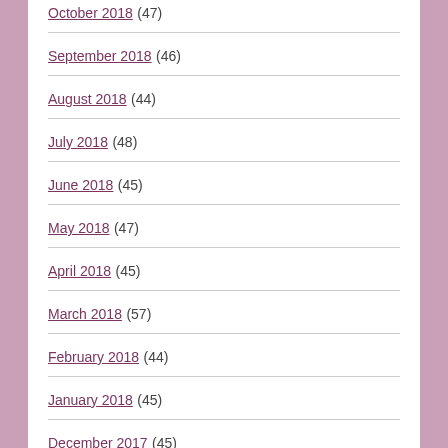October 2018 (47)
September 2018 (46)
August 2018 (44)
July 2018 (48)
June 2018 (45)
May 2018 (47)
April 2018 (45)
March 2018 (57)
February 2018 (44)
January 2018 (45)
December 2017 (45)